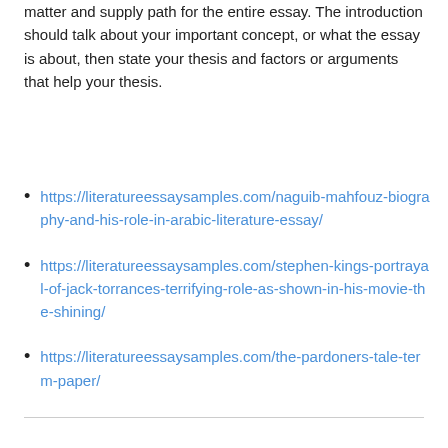matter and supply path for the entire essay. The introduction should talk about your important concept, or what the essay is about, then state your thesis and factors or arguments that help your thesis.
https://literatureessaysamples.com/naguib-mahfouz-biography-and-his-role-in-arabic-literature-essay/
https://literatureessaysamples.com/stephen-kings-portrayal-of-jack-torrances-terrifying-role-as-shown-in-his-movie-the-shining/
https://literatureessaysamples.com/the-pardoners-tale-term-paper/